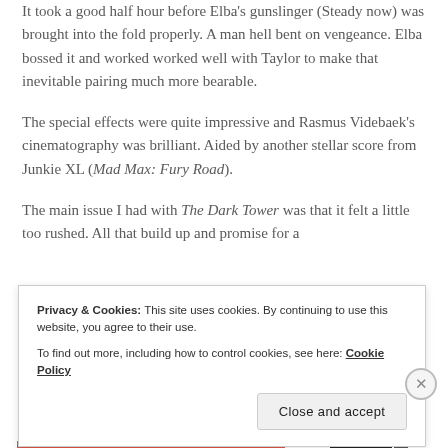It took a good half hour before Elba's gunslinger (Steady now) was brought into the fold properly. A man hell bent on vengeance. Elba bossed it and worked worked well with Taylor to make that inevitable pairing much more bearable.
The special effects were quite impressive and Rasmus Videbaek's cinematography was brilliant. Aided by another stellar score from Junkie XL (Mad Max: Fury Road).
The main issue I had with The Dark Tower was that it felt a little too rushed. All that build up and promise for a
Privacy & Cookies: This site uses cookies. By continuing to use this website, you agree to their use.
To find out more, including how to control cookies, see here: Cookie Policy
Close and accept